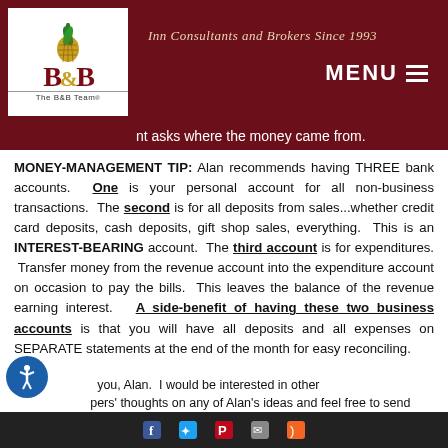[Figure (logo): The B&B Team logo with pineapple graphic and text 'The B&B Team']
Inn Consultants and Brokers Since 1993
...nt asks where the money came from.
MONEY-MANAGEMENT TIP: Alan recommends having THREE bank accounts. One is your personal account for all non-business transactions. The second is for all deposits from sales...whether credit card deposits, cash deposits, gift shop sales, everything. This is an INTEREST-BEARING account. The third account is for expenditures. Transfer money from the revenue account into the expenditure account on occasion to pay the bills. This leaves the balance of the revenue earning interest. A side-benefit of having these two business accounts is that you will have all deposits and all expenses on SEPARATE statements at the end of the month for easy reconciling.
Thank you, Alan. I would be interested in other innkeepers' thoughts on any of Alan's ideas and feel free to send...